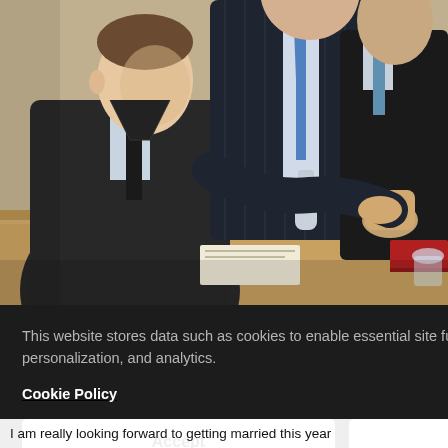[Figure (photo): Three men in dark business suits seated at a conference table. A water bottle is visible on the table. The man on the left is younger, looking to the side. The other two are partially visible, one in the center with a striped tie, one on the right with arms crossed.]
and President
This website stores data such as cookies to enable essential site functionality, as well as marketing, personalization, and analytics.
Cookie Policy
Accept
Deny
sup
I am really looking forward to getting married this year